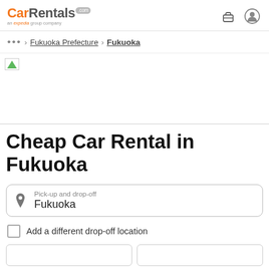CarRentals.com — an expedia group company
… > Fukuoka Prefecture > Fukuoka
[Figure (photo): Hero banner image for Fukuoka car rental page (broken/unloaded image placeholder)]
Cheap Car Rental in Fukuoka
Pick-up and drop-off
Fukuoka
Add a different drop-off location